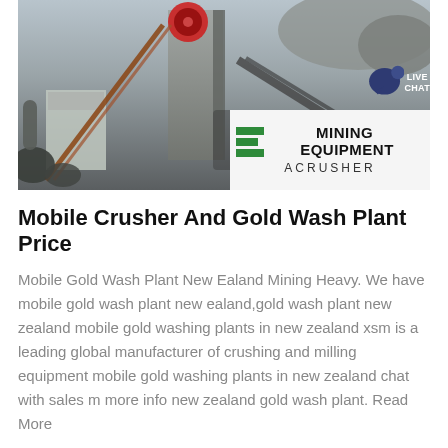[Figure (photo): A mining/crushing plant facility photo with heavy machinery, conveyor belts, and structures. Overlaid in the bottom-right corner is a Mining Equipment Acrusher banner with green diagonal bars and bold text. A teal 'LIVE CHAT' speech bubble icon appears in the top-right corner.]
Mobile Crusher And Gold Wash Plant Price
Mobile Gold Wash Plant New Ealand Mining Heavy. We have mobile gold wash plant new ealand,gold wash plant new zealand mobile gold washing plants in new zealand xsm is a leading global manufacturer of crushing and milling equipment mobile gold washing plants in new zealand chat with sales m more info new zealand gold wash plant. Read More